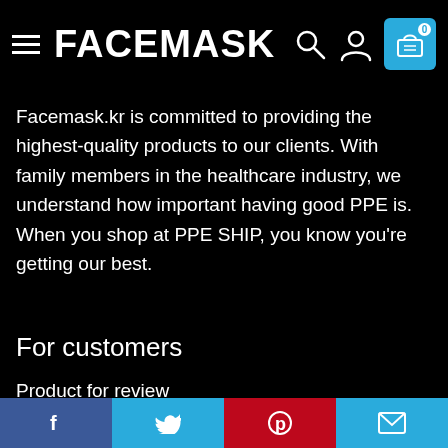FACEMASK
Facemask.kr is committed to providing the highest-quality products to our clients. With family members in the healthcare industry, we understand how important having good PPE is. When you shop at PPE SHIP, you know you're getting our best.
For customers
Product for review
Contact Us
Best deals
Catalog
For vendors
Facebook | Twitter | Pinterest | Email